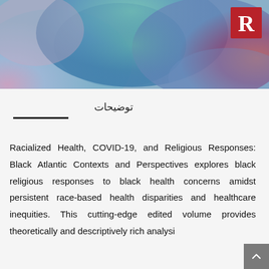[Figure (illustration): Colorful watercolor book cover with abstract blue, green, teal, red, and pink hues. Routledge publisher logo (red square with white R) in upper right corner.]
توضیحات
Racialized Health, COVID-19, and Religious Responses: Black Atlantic Contexts and Perspectives explores black religious responses to black health concerns amidst persistent race-based health disparities and healthcare inequities. This cutting-edge edited volume provides theoretically and descriptively rich analysi